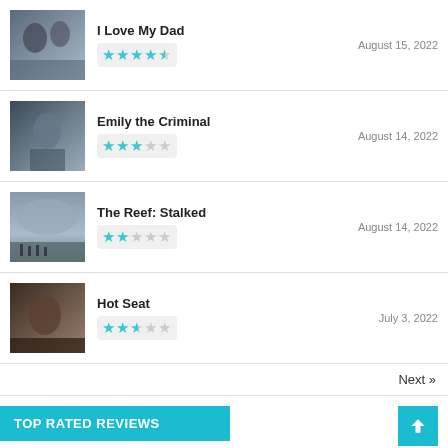I Love My Dad — 4.5 stars — August 15, 2022
Emily the Criminal — 3 stars — August 14, 2022
The Reef: Stalked — 2 stars — August 14, 2022
Hot Seat — 2.5 stars — July 3, 2022
Next »
TOP RATED REVIEWS